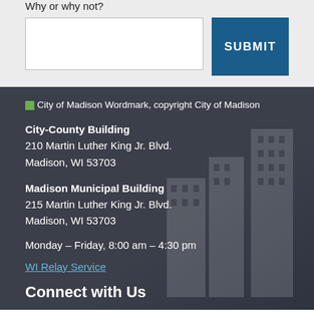Why or why not?
SUBMIT
[Figure (logo): City of Madison Wordmark, copyright City of Madison]
City-County Building
210 Martin Luther King Jr. Blvd.
Madison, WI 53703
Madison Municipal Building
215 Martin Luther King Jr. Blvd.
Madison, WI 53703
Monday – Friday, 8:00 am – 4:30 pm
WI Relay Service
Connect with Us